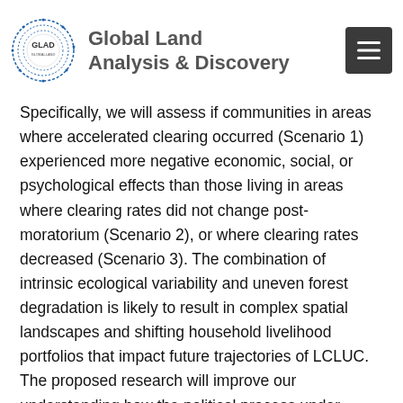Global Land Analysis & Discovery
Specifically, we will assess if communities in areas where accelerated clearing occurred (Scenario 1) experienced more negative economic, social, or psychological effects than those living in areas where clearing rates did not change post-moratorium (Scenario 2), or where clearing rates decreased (Scenario 3). The combination of intrinsic ecological variability and uneven forest degradation is likely to result in complex spatial landscapes and shifting household livelihood portfolios that impact future trajectories of LCLUC. The proposed research will improve our understanding how the political process under which different spatial, temporal and intensity patterns of deforestation occur can result in uneven impacts on human well-being and vulnerability.
Specifically we will address the following research